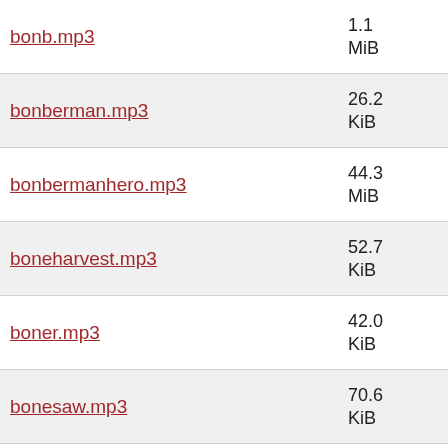bonb.mp3  1.1 MiB
bonberman.mp3  26.2 KiB
bonbermanhero.mp3  44.3 MiB
boneharvest.mp3  52.7 KiB
boner.mp3  42.0 KiB
bonesaw.mp3  70.6 KiB
bong.mp3  125 KiB
bonustime.mp3  2.0 MiB